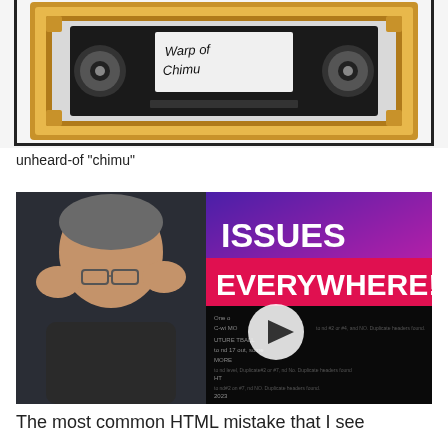[Figure (photo): A VHS tape in a golden picture frame, with handwritten text on the tape label reading 'Warp of Chimu']
unheard-of "chimu"
[Figure (screenshot): Video thumbnail showing a man holding his head in his hands with text 'ISSUES EVERYWHERE!' overlaid on a purple/pink background, with a play button in the center]
The most common HTML mistake that I see